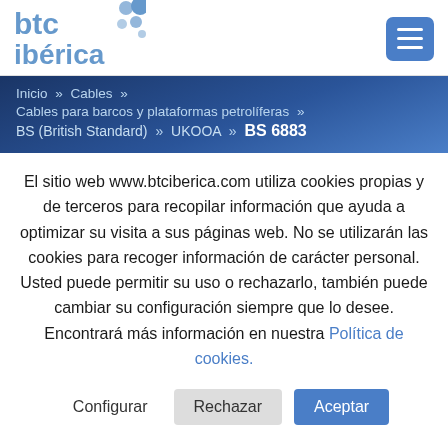btc ibérica [logo] [hamburger menu]
Inicio » Cables » Cables para barcos y plataformas petrolíferas » BS (British Standard) » UKOOA » BS 6883
El sitio web www.btciberica.com utiliza cookies propias y de terceros para recopilar información que ayuda a optimizar su visita a sus páginas web. No se utilizarán las cookies para recoger información de carácter personal. Usted puede permitir su uso o rechazarlo, también puede cambiar su configuración siempre que lo desee. Encontrará más información en nuestra Política de cookies.
Configurar | Rechazar | Aceptar